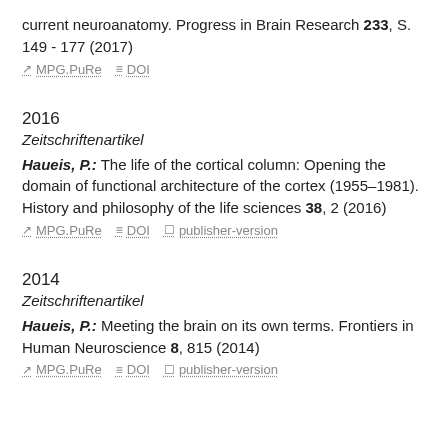current neuroanatomy. Progress in Brain Research 233, S. 149 - 177 (2017)
MPG.PuRe   DOI
2016
Zeitschriftenartikel
Haueis, P.: The life of the cortical column: Opening the domain of functional architecture of the cortex (1955–1981). History and philosophy of the life sciences 38, 2 (2016)
MPG.PuRe   DOI   publisher-version
2014
Zeitschriftenartikel
Haueis, P.: Meeting the brain on its own terms. Frontiers in Human Neuroscience 8, 815 (2014)
MPG.PuRe   DOI   publisher-version